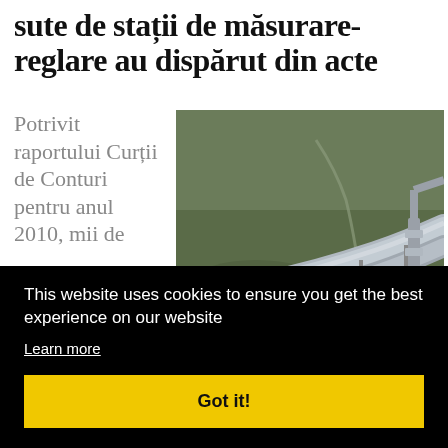sute de stații de măsurare-reglare au dispărut din acte
Potrivit raportului Curții de Conturi pentru anul 2010, mii de
[Figure (photo): Aerial or ground-level photograph of large industrial pipelines running across open grassland/tundra landscape]
This website uses cookies to ensure you get the best experience on our website
Learn more
Got it!